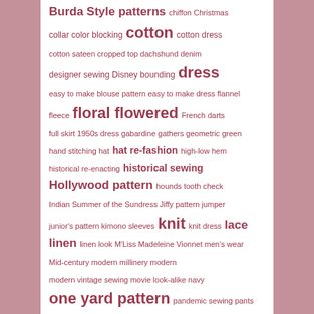[Figure (other): Tag cloud of sewing-related topics in shades of dark pink/rose on white background with pink textured side borders. Terms vary in font size indicating frequency/importance.]